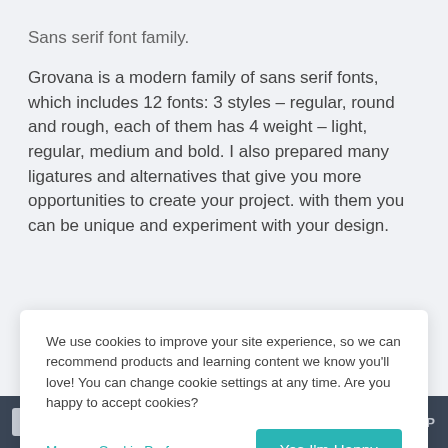Sans serif font family.
Grovana is a modern family of sans serif fonts, which includes 12 fonts: 3 styles – regular, round and rough, each of them has 4 weight – light, regular, medium and bold. I also prepared many ligatures and alternatives that give you more opportunities to create your project. with them you can be unique and experiment with your design.
We use cookies to improve your site experience, so we can recommend products and learning content we know you'll love! You can change cookie settings at any time. Are you happy to accept cookies?
Manage Cookie Preferences
Yes I'm Happy